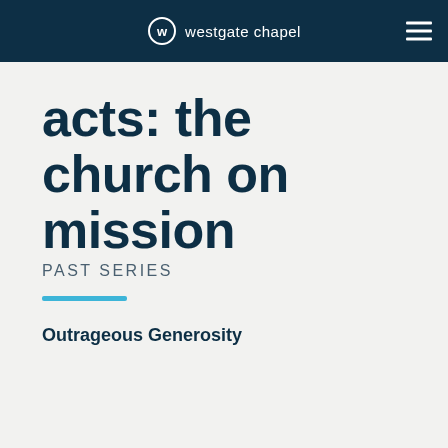westgate chapel
acts: the church on mission
PAST SERIES
Outrageous Generosity